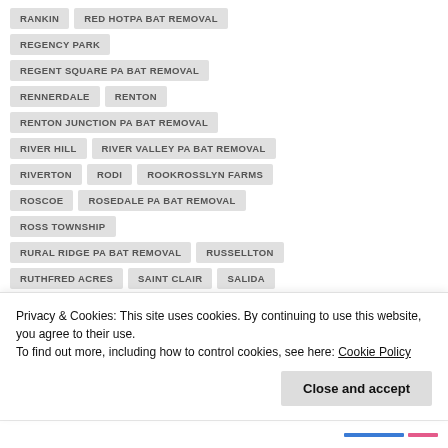RANKIN
RED HOTPA BAT REMOVAL
REGENCY PARK
REGENT SQUARE PA BAT REMOVAL
RENNERDALE
RENTON
RENTON JUNCTION PA BAT REMOVAL
RIVER HILL
RIVER VALLEY PA BAT REMOVAL
RIVERTON
RODI
ROOKROSSLYN FARMS
ROSCOE
ROSEDALE PA BAT REMOVAL
ROSS TOWNSHIP
RURAL RIDGE PA BAT REMOVAL
RUSSELLTON
RUTHFRED ACRES
SAINT CLAIR
SALIDA
Privacy & Cookies: This site uses cookies. By continuing to use this website, you agree to their use.
To find out more, including how to control cookies, see here: Cookie Policy
Close and accept